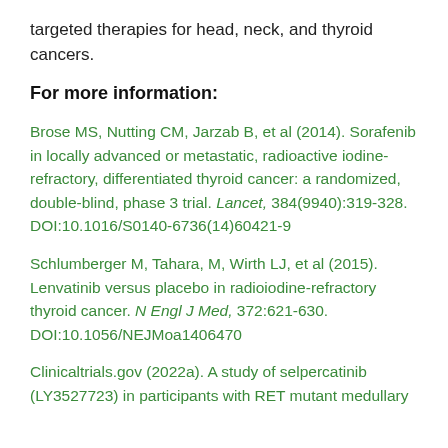targeted therapies for head, neck, and thyroid cancers.
For more information:
Brose MS, Nutting CM, Jarzab B, et al (2014). Sorafenib in locally advanced or metastatic, radioactive iodine-refractory, differentiated thyroid cancer: a randomized, double-blind, phase 3 trial. Lancet, 384(9940):319-328. DOI:10.1016/S0140-6736(14)60421-9
Schlumberger M, Tahara, M, Wirth LJ, et al (2015). Lenvatinib versus placebo in radioiodine-refractory thyroid cancer. N Engl J Med, 372:621-630. DOI:10.1056/NEJMoa1406470
Clinicaltrials.gov (2022a). A study of selpercatinib (LY3527723) in participants with RET mutant medullary...